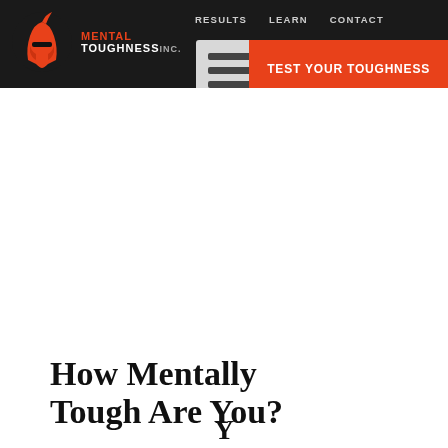Mental Toughness Inc. | RESULTS | LEARN | CONTACT | TEST YOUR TOUGHNESS
[Figure (screenshot): Navigation bar with Mental Toughness Inc. logo (spartan helmet), nav links RESULTS, LEARN, CONTACT, hamburger menu icon, and orange TEST YOUR TOUGHNESS button]
How Mentally Tough Are You?
Y